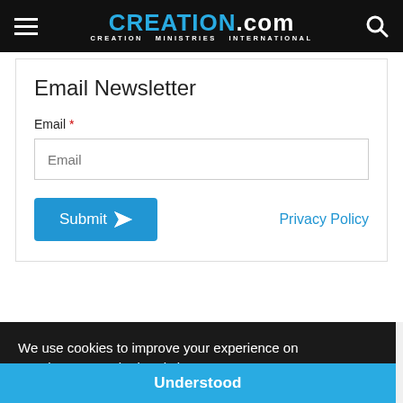CREATION.com — CREATION MINISTRIES INTERNATIONAL
Email Newsletter
Email *
Email (input placeholder)
Submit
Privacy Policy
We use cookies to improve your experience on creation.com and related sites.
Privacy Policy
Understood